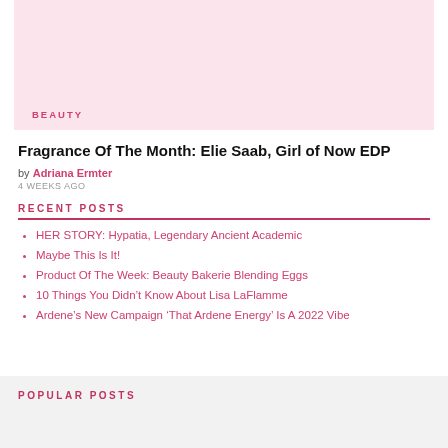[Figure (photo): Pink background beauty product image with perfume and glass bottle, showing a BEAUTY category label]
Fragrance Of The Month: Elie Saab, Girl of Now EDP
by Adriana Ermter
4 WEEKS AGO
RECENT POSTS
HER STORY: Hypatia, Legendary Ancient Academic
Maybe This Is It!
Product Of The Week: Beauty Bakerie Blending Eggs
10 Things You Didn’t Know About Lisa LaFlamme
Ardene’s New Campaign ‘That Ardene Energy’ Is A 2022 Vibe
POPULAR POSTS